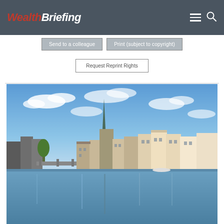WealthBriefing
Send to a colleague
Print (subject to copyright)
Request Reprint Rights
[Figure (photo): Panoramic view of Zurich old town waterfront with church spire, historic buildings reflected in the Limmat river, blue sky with scattered clouds]